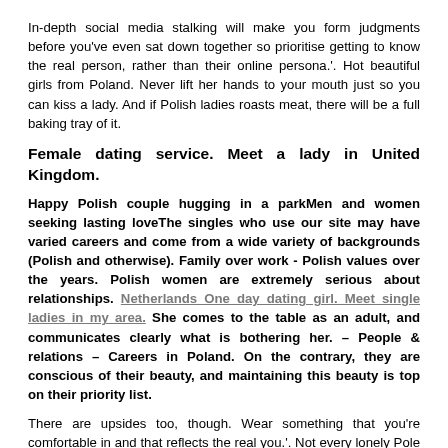In-depth social media stalking will make you form judgments before you've even sat down together so prioritise getting to know the real person, rather than their online persona.'. Hot beautiful girls from Poland. Never lift her hands to your mouth just so you can kiss a lady. And if Polish ladies roasts meat, there will be a full baking tray of it.
Female dating service. Meet a lady in United Kingdom.
Happy Polish couple hugging in a parkMen and women seeking lasting loveThe singles who use our site may have varied careers and come from a wide variety of backgrounds (Polish and otherwise). Family over work - Polish values over the years. Polish women are extremely serious about relationships. Netherlands One day dating girl. Meet single ladies in my area. She comes to the table as an adult, and communicates clearly what is bothering her. – People & relations – Careers in Poland. On the contrary, they are conscious of their beauty, and maintaining this beauty is top on their priority list.
There are upsides too, though. Wear something that you're comfortable in and that reflects the real you.'. Not every lonely Pole in United Kingdom has an account on a dating site, but most of them are active on Facebook. Poland is one of the countries in Central Europe. Both morally and physically. A